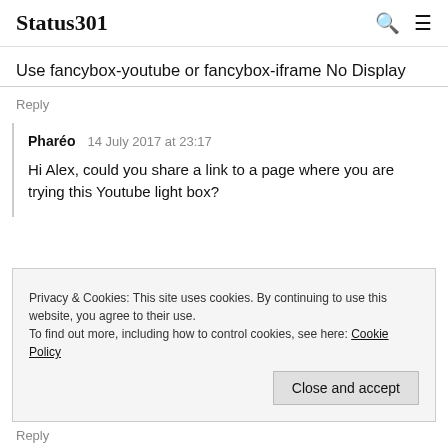Status301
Use fancybox-youtube or fancybox-iframe No Display
Reply
Pharéo   14 July 2017 at 23:17
Hi Alex, could you share a link to a page where you are trying this Youtube light box?
Privacy & Cookies: This site uses cookies. By continuing to use this website, you agree to their use.
To find out more, including how to control cookies, see here: Cookie Policy
Close and accept
Reply